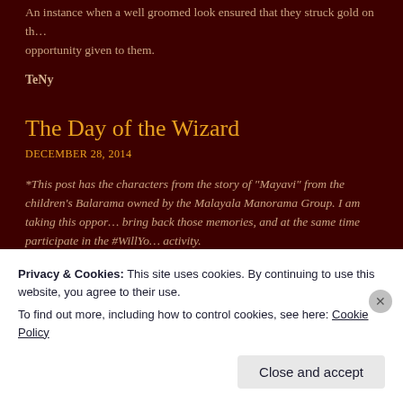An instance when a well groomed look ensured that they struck gold on the opportunity given to them.
TeNy
The Day of the Wizard
DECEMBER 28, 2014
*This post has the characters from the story of “Mayavi” from the children’s Balarama owned by the Malayala Manorama Group. I am taking this opportunity to bring back those memories, and at the same time participate in the #WillYo activity.
The dark wizard Kuttusan sat there on the side of the river. His hopes of capturing the Mayavi the little devil were all gone now. He looked into the river and s...
Privacy & Cookies: This site uses cookies. By continuing to use this website, you agree to their use.
To find out more, including how to control cookies, see here: Cookie Policy
Close and accept